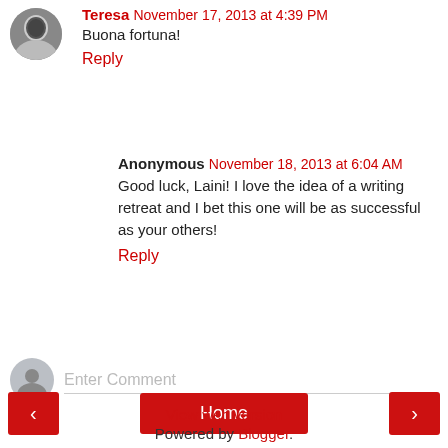Teresa November 17, 2013 at 4:39 PM
Buona fortuna!
Reply
Anonymous November 18, 2013 at 6:04 AM
Good luck, Laini! I love the idea of a writing retreat and I bet this one will be as successful as your others!
Reply
Enter Comment
Home
View web version
Powered by Blogger.